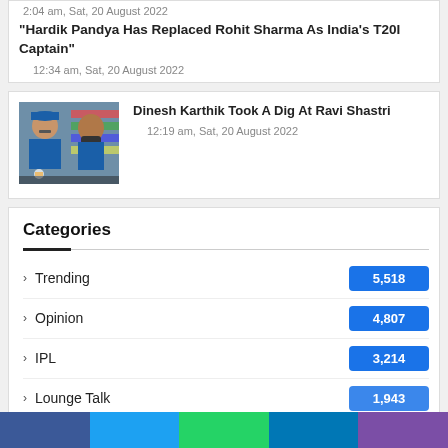2:04 am, Sat, 20 August 2022
“Hardik Pandya Has Replaced Rohit Sharma As India’s T20I Captain”
12:34 am, Sat, 20 August 2022
[Figure (photo): Photo of two cricket players/coaches side by side against a scorecard background]
Dinesh Karthik Took A Dig At Ravi Shastri
12:19 am, Sat, 20 August 2022
Categories
Trending   5,518
Opinion   4,807
IPL   3,214
Lounge Talk   1,943